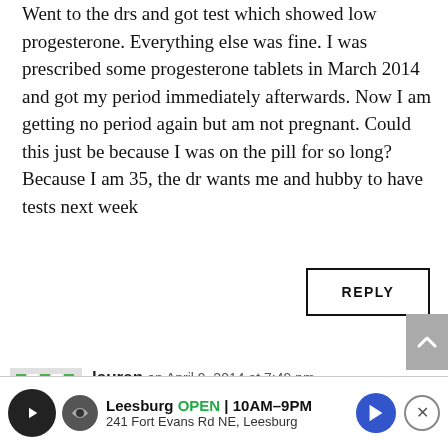Went to the drs and got test which showed low progesterone. Everything else was fine. I was prescribed some progesterone tablets in March 2014 and got my period immediately afterwards. Now I am getting no period again but am not pregnant. Could this just be because I was on the pill for so long? Because I am 35, the dr wants me and hubby to have tests next week
REPLY
lauren on April 9, 2014 at 7:49 pm
Hi !! So glad to read this. I have been irregular in my periods since I was 16. I am now 34 and have two children. My first pregnancy was
Leesburg OPEN 10AM–9PM 241 Fort Evans Rd NE, Leesburg